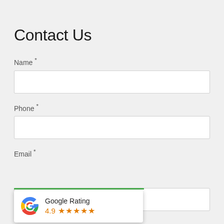Contact Us
Name *
Phone *
Email *
[Figure (infographic): Google Rating popup widget showing Google 'G' logo, text 'Google Rating', rating '4.9' and five orange stars]
Comments